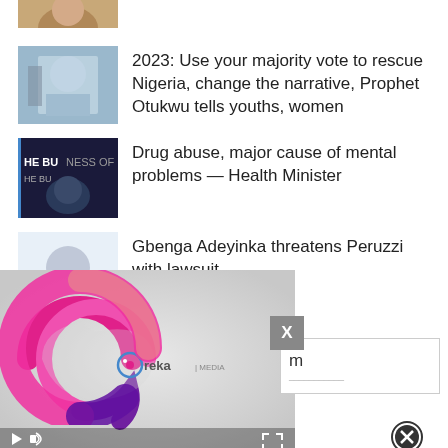[Figure (photo): Partial top image of a person, cropped]
2023: Use your majority vote to rescue Nigeria, change the narrative, Prophet Otukwu tells youths, women
Drug abuse, major cause of mental problems — Health Minister
Gbenga Adeyinka threatens Peruzzi with lawsuit
[Figure (screenshot): Ureka Media video player overlay with close button and ad box showing 'm' text]